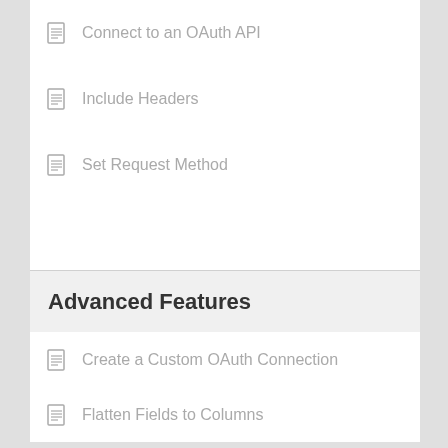Connect to an OAuth API
Include Headers
Set Request Method
Advanced Features
Create a Custom OAuth Connection
Flatten Fields to Columns
ImportAPI Custom Function
JMESPath Filtering
Multi-Query Requests
Pagination Handling
Use Cell Values in Requests
View Raw API Response